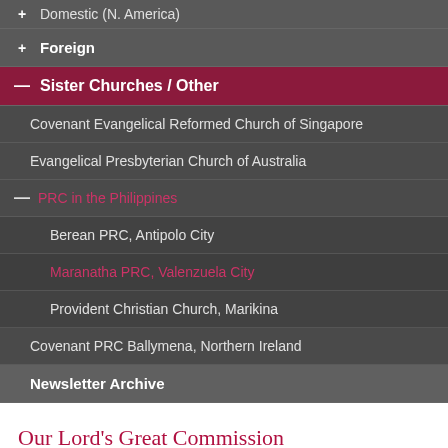+ Domestic (N. America)
+ Foreign
— Sister Churches / Other
Covenant Evangelical Reformed Church of Singapore
Evangelical Presbyterian Church of Australia
— PRC in the Philippines
Berean PRC, Antipolo City
Maranatha PRC, Valenzuela City
Provident Christian Church, Marikina
Covenant PRC Ballymena, Northern Ireland
Newsletter Archive
Our Lord's Great Commission
[Figure (photo): Partial view of a mountain or landscape photo with blue sky and ground]